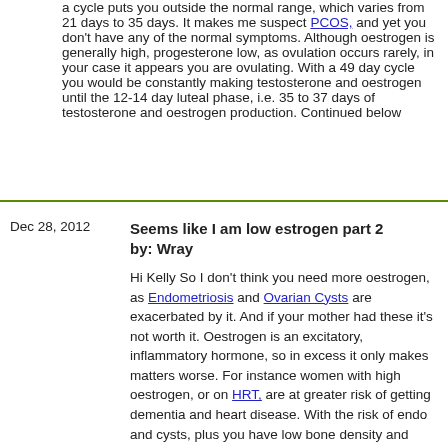a cycle puts you outside the normal range, which varies from 21 days to 35 days. It makes me suspect PCOS, and yet you don't have any of the normal symptoms. Although oestrogen is generally high, progesterone low, as ovulation occurs rarely, in your case it appears you are ovulating. With a 49 day cycle you would be constantly making testosterone and oestrogen until the 12-14 day luteal phase, i.e. 35 to 37 days of testosterone and oestrogen production. Continued below
Dec 28, 2012
Seems like I am low estrogen part 2 by: Wray
Hi Kelly So I don't think you need more oestrogen, as Endometriosis and Ovarian Cysts are exacerbated by it. And if your mother had these it's not worth it. Oestrogen is an excitatory, inflammatory hormone, so in excess it only makes matters worse. For instance women with high oestrogen, or on HRT, are at greater risk of getting dementia and heart disease. With the risk of endo and cysts, plus you have low bone density and heart disease, and Alzheimer's runs in your